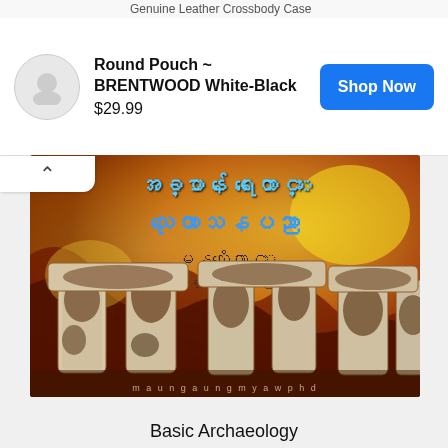Genuine Leather Crossbody Case
Round Pouch ~ BRENTWOOD White-Black
$29.99
Shop Now
[Figure (photo): Book cover image showing Stonehenge stones with Myanmar script text on a yellow-orange-red artistic background. The book is titled 'Basic Archaeology' written in Myanmar language.]
Basic Archaeology